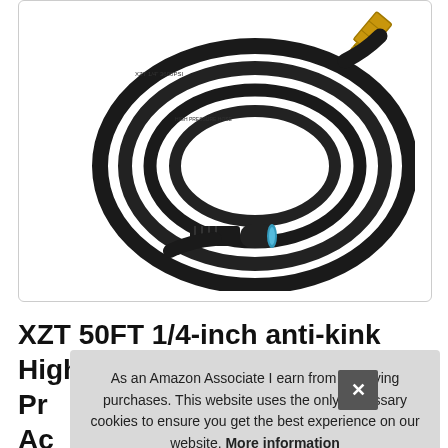[Figure (photo): Product photo of a coiled black high-pressure washer hose with a metal threaded fitting (brass) on one end and a black quick-connect fitting on the other end, on a white background.]
XZT 50FT 1/4-inch anti-kink High Pressure Washer Hose with Accessories mo...
As an Amazon Associate I earn from qualifying purchases. This website uses the only necessary cookies to ensure you get the best experience on our website. More information